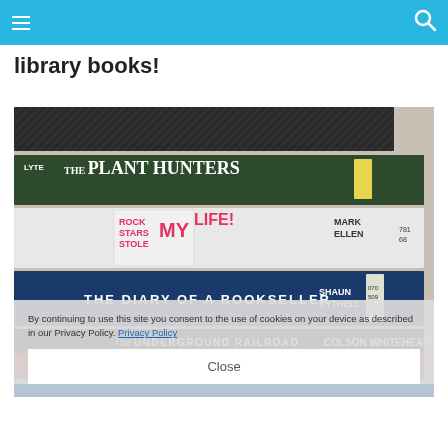Navigation bar with hamburger menu and search icon
library books!
[Figure (photo): Stack of library books including The Plant Hunters by Lyte, Rock Stars Stole My Life by Mark Ellen, The Diary of a Bookseller by Shaun Bythell, The Underground Railroad by Colson Whitehead, and others]
By continuing to use this site you consent to the use of cookies on your device as described in our Privacy Policy. Privacy Policy
Close